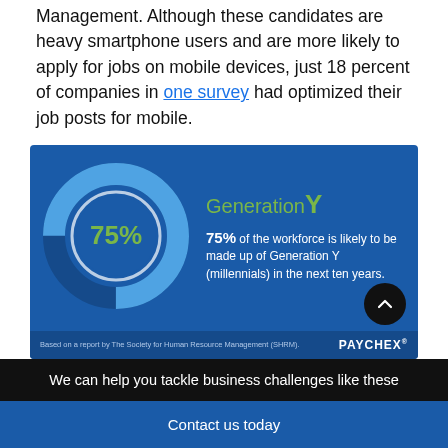years, reports the Society for Human Resource Management. Although these candidates are heavy smartphone users and are more likely to apply for jobs on mobile devices, just 18 percent of companies in one survey had optimized their job posts for mobile.
[Figure (infographic): Donut chart infographic on dark blue background. Shows a donut chart with 75% filled (light blue arc on dark blue). Center label reads '75%' in green. Right side text says 'Generation Y' with a large stylized Y in green. Below: '75% of the workforce is likely to be made up of Generation Y (millennials) in the next ten years.' Footer: 'Based on a report by The Society for Human Resource Management (SHRM).' PAYCHEX logo at bottom right.]
We can help you tackle business challenges like these
Contact us today